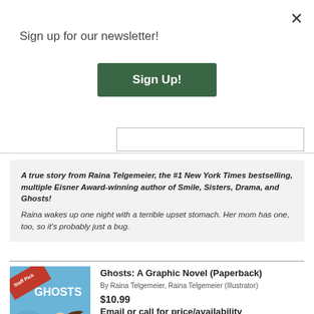Sign up for our newsletter!
Sign Up!
A true story from Raina Telgemeier, the #1 New York Times bestselling, multiple Eisner Award-winning author of Smile, Sisters, Drama, and Ghosts! Raina wakes up one night with a terrible upset stomach. Her mom has one, too, so it's probably just a bug.
[Figure (illustration): Book cover for 'Ghosts: A Graphic Novel' showing two girls on a blue background with a Staff Pick badge]
Ghosts: A Graphic Novel (Paperback)
By Raina Telgemeier, Raina Telgemeier (Illustrator)
$10.99
Email or call for price/availability
ISBN: 9780545540629
Published: Graphix - September 13th, 2016